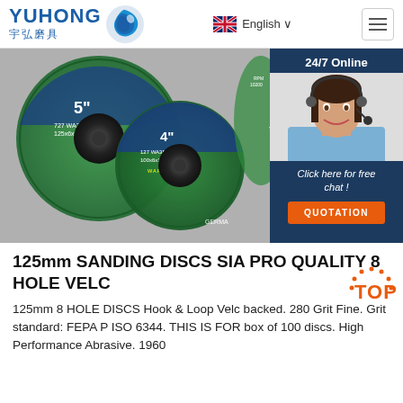[Figure (logo): Yuhong 宇弘磨具 company logo with blue wave/fish icon]
English ∨
[Figure (photo): Green grinding/sanding discs (5" and 4") stacked, with a customer service representative photo overlay and chat widget showing '24/7 Online', 'Click here for free chat!', and 'QUOTATION' button]
125mm SANDING DISCS SIA PRO QUALITY 8 HOLE VELC
125mm 8 HOLE DISCS Hook & Loop Velc backed. 280 Grit Fine. Grit standard: FEPA P ISO 6344. THIS IS FOR box of 100 discs. High Performance Abrasive. 1960